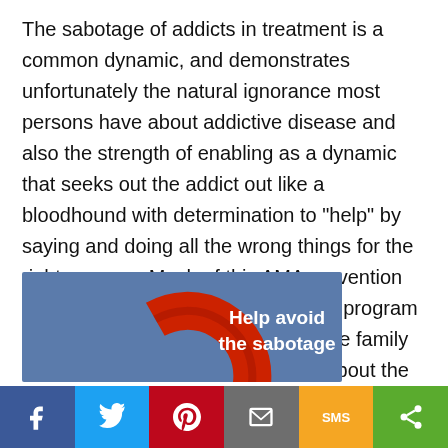The sabotage of addicts in treatment is a common dynamic, and demonstrates unfortunately the natural ignorance most persons have about addictive disease and also the strength of enabling as a dynamic that seeks out the addict out like a bloodhound with determination to "help" by saying and doing all the wrong things for the right reasons. Much of this AMA prevention responsibility lies with the treatment program and the counselor's ability to educate family members and concerned persons about the role of the family in support of recovery.
[Figure (photo): Partial image showing a red circular shape (life preserver or similar) on a blue background with text 'Help avoid the sabotage' in white]
[Figure (infographic): Social sharing bar with buttons for Facebook (blue), Twitter (light blue), Pinterest (red), Email (gray), SMS (yellow/orange), and Share (green)]